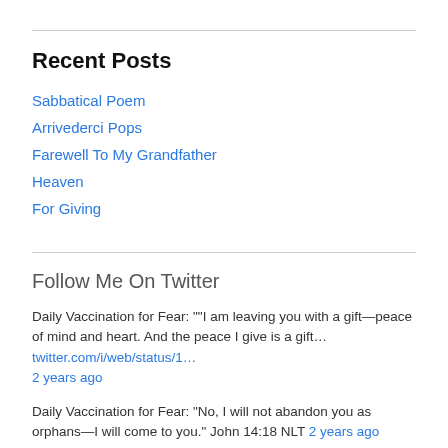Recent Posts
Sabbatical Poem
Arrivederci Pops
Farewell To My Grandfather
Heaven
For Giving
Follow Me On Twitter
Daily Vaccination for Fear: "“I am leaving you with a gift—peace of mind and heart. And the peace I give is a gift… twitter.com/i/web/status/1… 2 years ago
Daily Vaccination for Fear: “No, I will not abandon you as orphans—I will come to you.” John 14:18 NLT 2 years ago
Daily Vaccination for Fear: “And I will ask the Father, and He will give